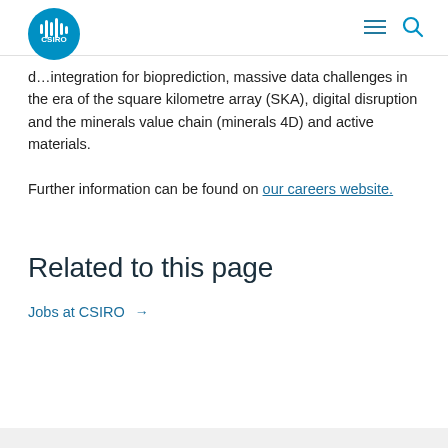CSIRO logo, hamburger menu, search icon
d…integration for bioprediction, massive data challenges in the era of the square kilometre array (SKA), digital disruption and the minerals value chain (minerals 4D) and active materials.
Further information can be found on our careers website.
Related to this page
Jobs at CSIRO →